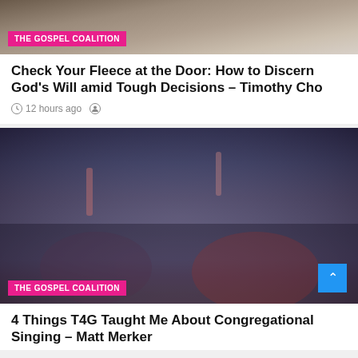[Figure (photo): Outdoor sandy/dirt path scene, top portion of first article card]
THE GOSPEL COALITION
Check Your Fleece at the Door: How to Discern God’s Will amid Tough Decisions – Timothy Cho
12 hours ago
[Figure (photo): Large crowd of people singing/worshiping with hands raised outdoors]
THE GOSPEL COALITION
4 Things T4G Taught Me About Congregational Singing – Matt Merker